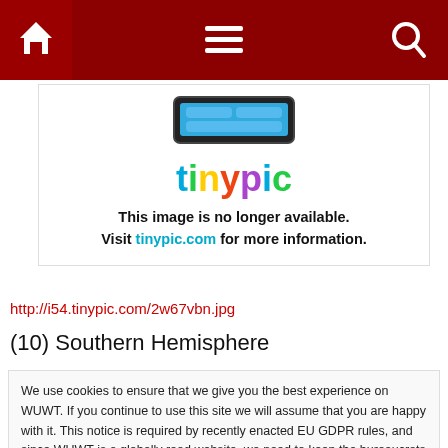[Figure (screenshot): Navigation bar with home icon, hamburger menu icon, and search icon on dark red background]
[Figure (logo): Tinypic logo with tablet graphic above. Text reads: This image is no longer available. Visit tinypic.com for more information.]
http://i54.tinypic.com/2w67vbn.jpg
(10) Southern Hemisphere
We use cookies to ensure that we give you the best experience on WUWT. If you continue to use this site we will assume that you are happy with it. This notice is required by recently enacted EU GDPR rules, and since WUWT is a globally read website, we need to keep the bureaucrats off our case! Cookie Policy

Close and accept